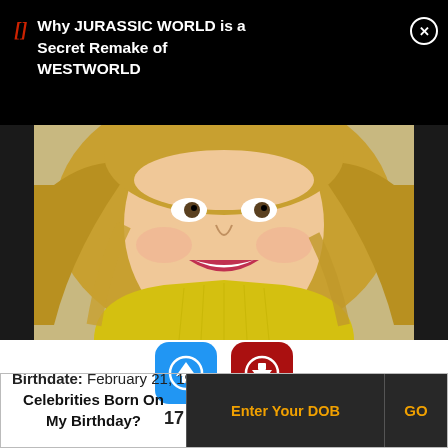Why JURASSIC WORLD is a Secret Remake of WESTWORLD
[Figure (photo): Portrait photo of a smiling blonde woman wearing a yellow sweater]
[Figure (infographic): Blue upvote button with up arrow icon (17 votes) and red downvote button with down arrow icon (3 votes)]
Birthdate: February 21, 1971
Celebrities Born On My Birthday? Enter Your DOB GO